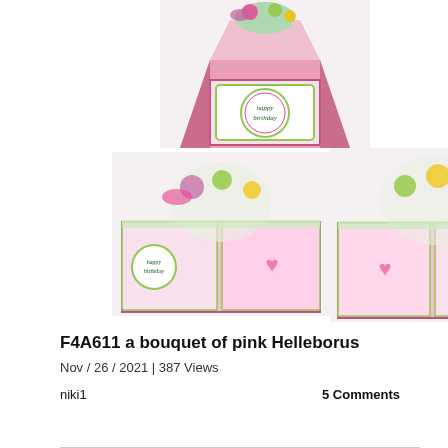[Figure (photo): Top view of a pop-up box birthday card, pink and green themed, showing 'happy birthday' on the front, with colorful unicorn and floral decorations popping out from the top.]
[Figure (photo): Left angle view of the opened pop-up box birthday card showing inner panels with unicorn theme, pink heart decoration, and colorful paper elements.]
[Figure (photo): Right angle view of the opened pop-up box birthday card showing inner panels with pink heart decoration and 'happy birthday' text, unicorn theme decorations.]
F4A611 a bouquet of pink Helleborus
Nov / 26 / 2021 | 387 Views
niki1
5 Comments